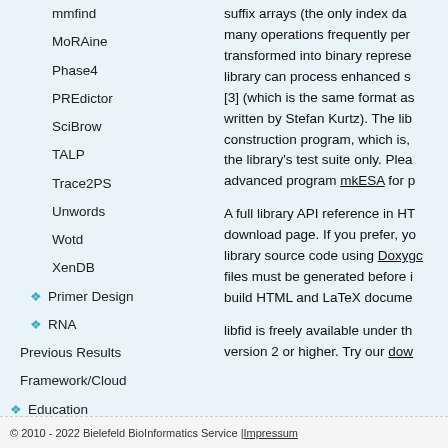mmfind
MoRAine
Phase4
PREdictor
SciBrow
TALP
Trace2PS
Unwords
Wotd
XenDB
Primer Design
RNA
Previous Results
Framework/Cloud
Education
Administration
suffix arrays (the only index da... many operations frequently per... transformed into binary represe... library can process enhanced s... [3] (which is the same format as... written by Stefan Kurtz). The lib... construction program, which is,... the library's test suite only. Plea... advanced program mkESA for p...
A full library API reference in HT... download page. If you prefer, yo... library source code using Doxygen... files must be generated before... build HTML and LaTeX docume...
libfid is freely available under th... version 2 or higher. Try our dow...
© 2010 - 2022 Bielefeld BioInformatics Service | Impressum